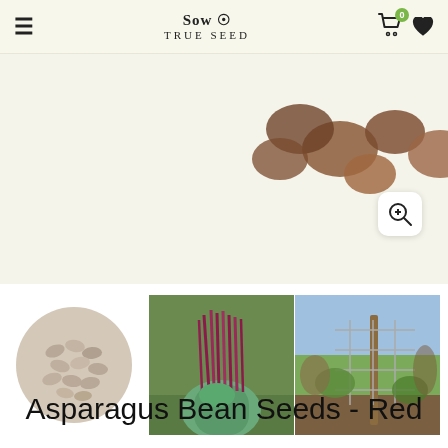Sow True Seed
[Figure (photo): Main product image area showing seeds/beans on light background]
[Figure (photo): Thumbnail 1: pile of pale tan/beige asparagus bean seeds]
[Figure (photo): Thumbnail 2: hand holding a bunch of long red/purple asparagus beans]
[Figure (photo): Thumbnail 3: garden trellis setup outdoors]
Asparagus Bean Seeds - Red